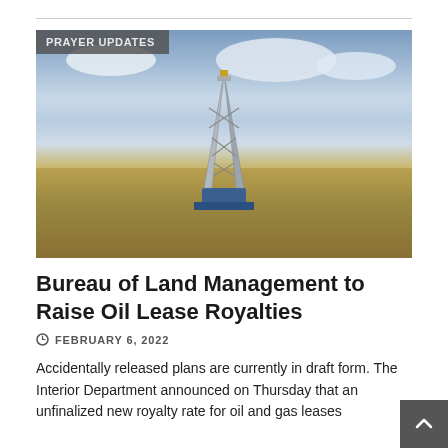[Figure (photo): Oil drilling rig / derrick on an arid plain under a partly cloudy sky, with 'PRAYER UPDATES' label overlay in the top-left corner.]
Bureau of Land Management to Raise Oil Lease Royalties
FEBRUARY 6, 2022
Accidentally released plans are currently in draft form. The Interior Department announced on Thursday that an unfinalized new royalty rate for oil and gas leases